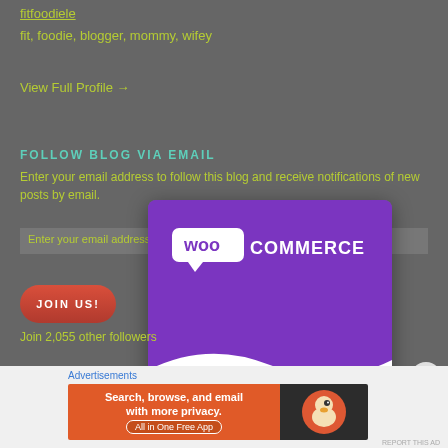fitfoodiele
fit, foodie, blogger, mommy, wifey
View Full Profile →
FOLLOW BLOG VIA EMAIL
Enter your email address to follow this blog and receive notifications of new posts by email.
[Figure (screenshot): WooCommerce modal overlay with purple background showing WooCommerce logo and white/orange wave design at the bottom]
JOIN US!
Join 2,055 other followers
Advertisements
[Figure (screenshot): DuckDuckGo advertisement banner: Search, browse, and email with more privacy. All in One Free App. Orange background with DuckDuckGo duck logo on dark right side.]